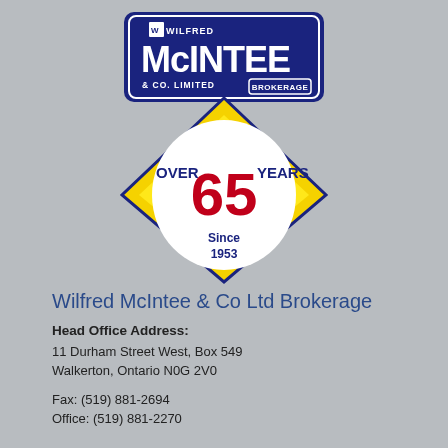[Figure (logo): Wilfred McIntee & Co Limited Brokerage logo: navy blue sign board with white text 'WILFRED McINTEE & CO. LIMITED BROKERAGE' above a yellow diamond badge with 'OVER 65 YEARS Since 1953' in red and blue text]
Wilfred McIntee & Co Ltd Brokerage
Head Office Address:
11 Durham Street West, Box 549
Walkerton, Ontario N0G 2V0
Fax: (519) 881-2694
Office: (519) 881-2270